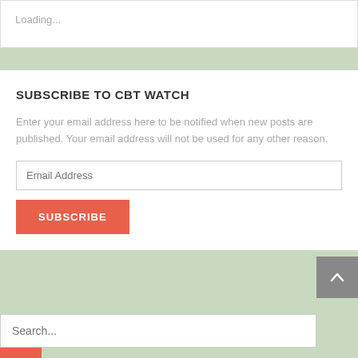Loading...
SUBSCRIBE TO CBT WATCH
Enter your email address here to be notified when new posts are published. Your email address will not be used for any other reason.
Email Address
SUBSCRIBE
Search...